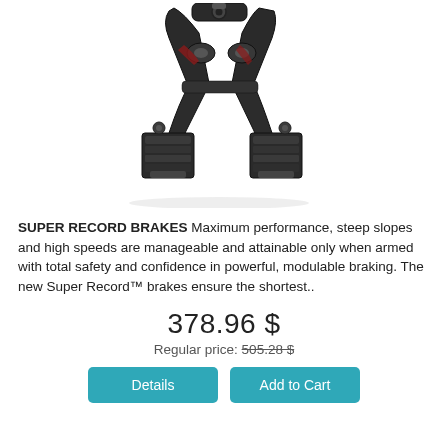[Figure (photo): Close-up photo of Campagnolo Super Record bicycle brake caliper, black carbon/metal construction, showing brake arms and brake pads from front view]
SUPER RECORD BRAKES Maximum performance, steep slopes and high speeds are manageable and attainable only when armed with total safety and confidence in powerful, modulable braking. The new Super Record™ brakes ensure the shortest..
378.96 $
Regular price: 505.28 $
Details
Add to Cart